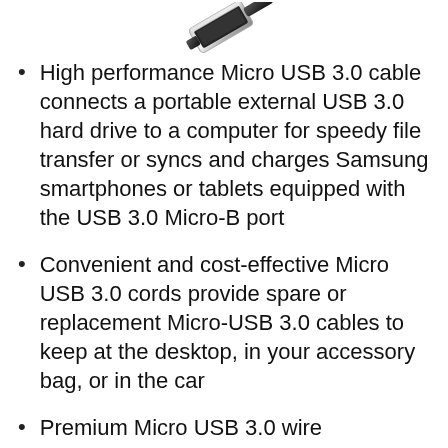[Figure (photo): Partial image of a USB cable connector at the top of the page]
High performance Micro USB 3.0 cable connects a portable external USB 3.0 hard drive to a computer for speedy file transfer or syncs and charges Samsung smartphones or tablets equipped with the USB 3.0 Micro-B port
Convenient and cost-effective Micro USB 3.0 cords provide spare or replacement Micro-USB 3.0 cables to keep at the desktop, in your accessory bag, or in the car
Premium Micro USB 3.0 wire engineered with molded strain relief connectors for durability and grip treads for easy plugging and unplugging. Enjoy Super Speed USB 3.0